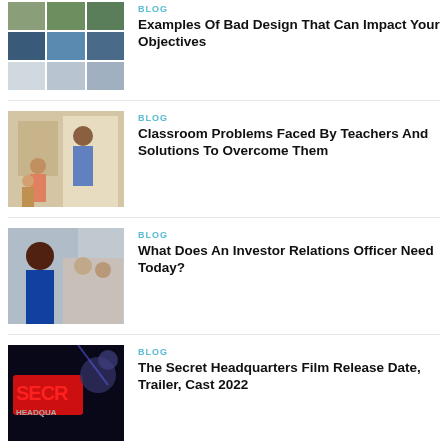[Figure (photo): 3x3 grid of thumbnail images of office/nature spaces]
BLOG
Examples Of Bad Design That Can Impact Your Objectives
[Figure (photo): Teacher in classroom with students raising hands]
BLOG
Classroom Problems Faced By Teachers And Solutions To Overcome Them
[Figure (photo): Smiling businessman in blue suit with colleagues in background]
BLOG
What Does An Investor Relations Officer Need Today?
[Figure (photo): Secret Headquarters movie poster with dark sci-fi theme]
BLOG
The Secret Headquarters Film Release Date, Trailer, Cast 2022
[Figure (photo): Partial thumbnail at bottom of page]